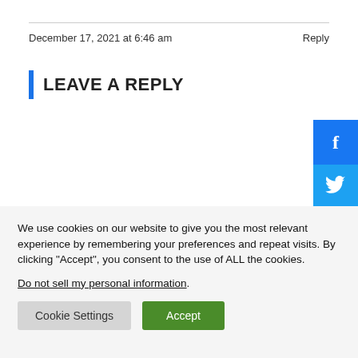December 17, 2021 at 6:46 am
Reply
LEAVE A REPLY
[Figure (illustration): Social media share buttons: Facebook (blue), Twitter (light blue), YouTube (red), partially visible on right edge]
We use cookies on our website to give you the most relevant experience by remembering your preferences and repeat visits. By clicking “Accept”, you consent to the use of ALL the cookies.
Do not sell my personal information.
Cookie Settings  Accept